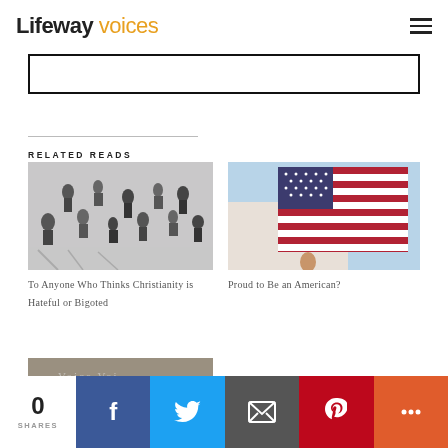Lifeway voices
[Figure (screenshot): Search bar input field with black border]
RELATED READS
[Figure (photo): Aerial view of people walking in a public space, black and white blurred]
To Anyone Who Thinks Christianity is Hateful or Bigoted
[Figure (photo): American flag waving against blue sky, hand visible below]
Proud to Be an American?
[Figure (photo): Close-up of newspaper or document, blurred]
0 SHARES  Facebook  Twitter  Email  Pinterest  More